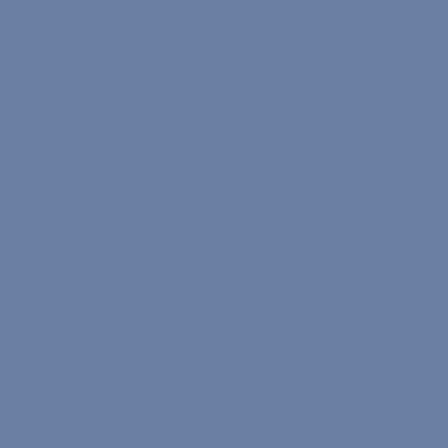is the calculation of disorder, relevance of the equation PV= memory is correct. We don t k so the real entropy universally analyse the philosophy of this the death, but probably that th maybe consider the electrona consciousness and a deeper k know simply, nor you nor nobo interpretations. See for examp entropy and that the Entropy i is determined by its initial and not change, while irreversible ideas about the total entropy o the works of Shannon to see o
report post as inappropriate
Jason Mark Wolfe replied on Sep. 1, 2
You're right. Without direct obs to be verified in an empirical w Some people still don't!
So, I agree with you that the p